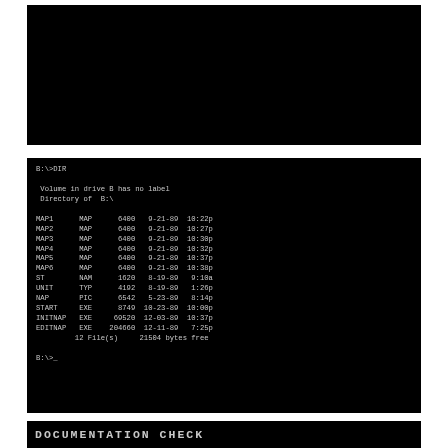[Figure (screenshot): Black terminal screen (empty/dark upper portion)]
[Figure (screenshot): DOS terminal DIR listing showing B:\>DIR command output with files MAP1-MAP6 (MAP, 6400 bytes, 9-21-89), ST (NAM, 1620, 8-19-89), UNIT (TYP, 4192, 8-19-89), NAP (PIC, 6542, 5-23-89), START (EXE, 8749, 10-23-89), INITNAP (EXE, 69520, 12-03-89), EDITNAP (EXE, 204660, 12-11-89), 12 File(s) 21504 bytes free]
DOCUMENTATION CHECK